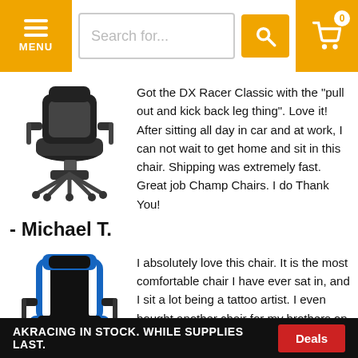MENU | Search for... | Cart 0
[Figure (photo): Black office/gaming chair product photo]
Got the DX Racer Classic with the "pull out and kick back leg thing". Love it! After sitting all day in car and at work, I can not wait to get home and sit in this chair. Shipping was extremely fast. Great job Champ Chairs. I do Thank You!
- Michael T.
[Figure (photo): Black and blue gaming chair product photo]
I absolutely love this chair. It is the most comfortable chair I have ever sat in, and I sit a lot being a tattoo artist. I even bought another chair for my brothers on his birthday since he is a major gamer.
AKRACING IN STOCK. WHILE SUPPLIES LAST.  Deals